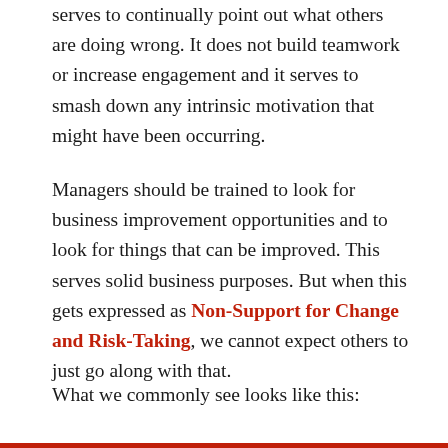serves to continually point out what others are doing wrong. It does not build teamwork or increase engagement and it serves to smash down any intrinsic motivation that might have been occurring.
Managers should be trained to look for business improvement opportunities and to look for things that can be improved. This serves solid business purposes. But when this gets expressed as Non-Support for Change and Risk-Taking, we cannot expect others to just go along with that.
What we commonly see looks like this: